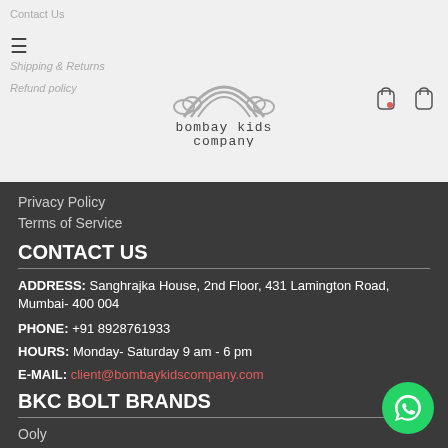Contact Us | Shipping & Returns | Refund policy
[Figure (logo): Bombay Kids Company logo with rainbow and cloud illustration, handwritten-style text]
Privacy Policy
Terms of Service
CONTACT US
ADDRESS: Sanghrajka House, 2nd Floor, 431 Lamington Road, Mumbai- 400 004
PHONE: +91 8928761933
HOURS: Monday- Saturday 9 am - 6 pm
E-MAIL: client@bombaykidscompany.com
BKC BOLT BRANDS
Ooly
Montii co
Mudpuppy